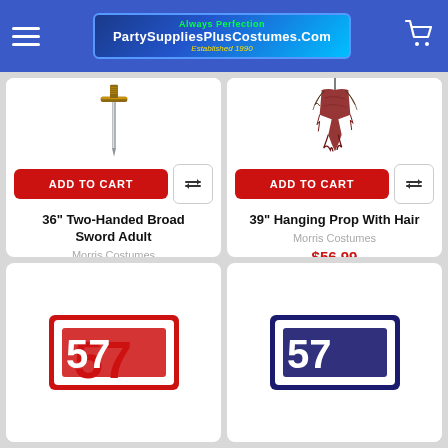PartySuppliesPlusCostumes.Com — Always Perfection — Established 1990
[Figure (photo): 36 inch Two-Handed Broad Sword product photo on white background]
ADD TO CART
36" Two-Handed Broad Sword Adult
Morris Costumes
$51.99
[Figure (photo): 39 inch Hanging Prop With Hair product photo on white background]
ADD TO CART
39" Hanging Prop With Hair
Morris Costumes
$56.99
[Figure (photo): Red and white chenille letter patch, partially visible]
[Figure (photo): Navy blue and white chenille letter patch, partially visible]